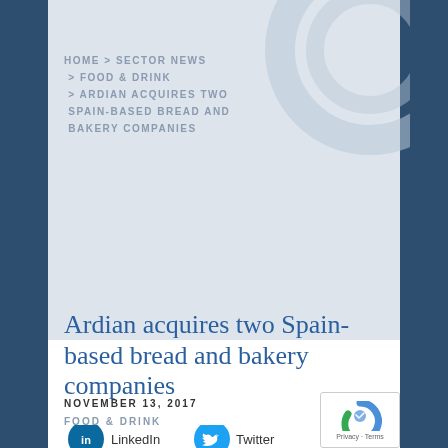HOME > SECTOR NEWS > FOOD & DRINK > ARDIAN ACQUIRES TWO SPAIN-BASED BREAD AND BAKERY COMPANIES
Ardian acquires two Spain-based bread and bakery companies
NOVEMBER 13, 2017
FOOD & DRINK
[Figure (infographic): Social share buttons: LinkedIn, Twitter, Xing, Email]
[Figure (other): reCAPTCHA Privacy - Terms badge]